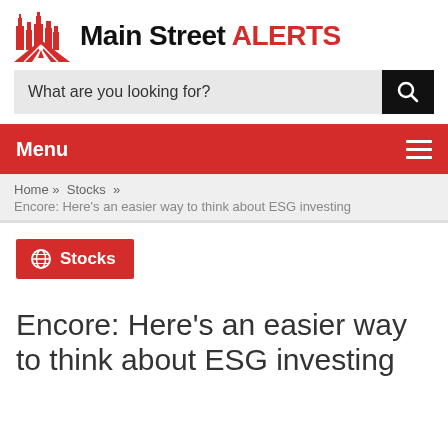[Figure (logo): Main Street ALERTS logo with red cityscape icon and black/red text]
[Figure (screenshot): Search bar with placeholder text 'What are you looking for?' and black search button]
Menu
Home » Stocks » Encore: Here's an easier way to think about ESG investing
[Figure (other): Red Stocks category badge with globe icon]
Encore: Here's an easier way to think about ESG investing